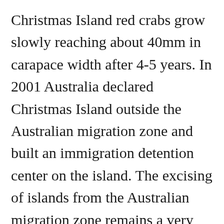Christmas Island red crabs grow slowly reaching about 40mm in carapace width after 4-5 years. In 2001 Australia declared Christmas Island outside the Australian migration zone and built an immigration detention center on the island. The excising of islands from the Australian migration zone remains a very controversial aspect of Australian immigration policy. Refugee advocates argue that Australia is not meeting its obligations under international law to protect refugees. Of crustacean